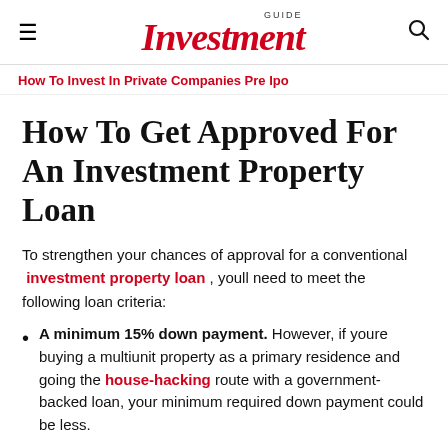GUIDE Investment
How To Invest In Private Companies Pre Ipo
How To Get Approved For An Investment Property Loan
To strengthen your chances of approval for a conventional investment property loan, youll need to meet the following loan criteria:
A minimum 15% down payment. However, if youre buying a multiunit property as a primary residence and going the house-hacking route with a government-backed loan, your minimum required down payment could be less.